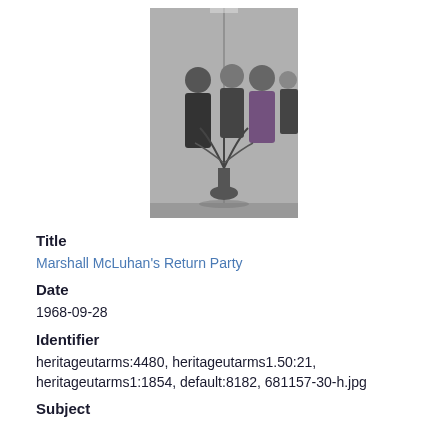[Figure (photo): Black and white photograph of people at a party, with a man and women in patterned dresses visible, and a floral arrangement in the foreground. The scene appears to be reflected in a mirror.]
Title
Marshall McLuhan's Return Party
Date
1968-09-28
Identifier
heritageutarms:4480, heritageutarms1.50:21, heritageutarms1:1854, default:8182, 681157-30-h.jpg
Subject